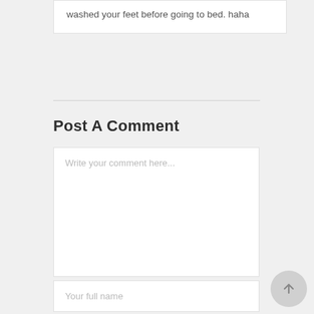washed your feet before going to bed. haha
Post A Comment
Write your comment here...
Your full name